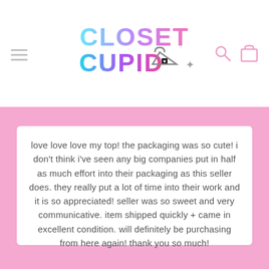[Figure (logo): Closet Cupid logo with colorful gradient text and hanger/arrow/star icons]
love love love my top! the packaging was so cute! i don't think i've seen any big companies put in half as much effort into their packaging as this seller does. they really put a lot of time into their work and it is so appreciated! seller was so sweet and very communicative. item shipped quickly + came in excellent condition. will definitely be purchasing from here again! thank you so much!
—Tasnim—
@tttasnim, depop